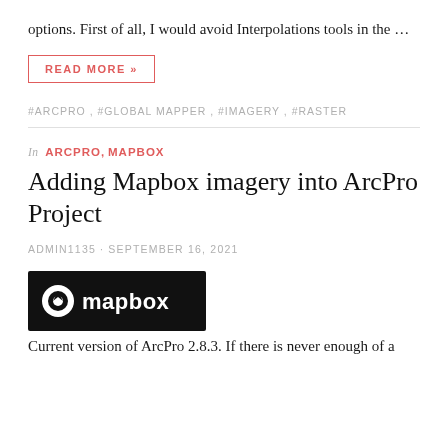options. First of all, I would avoid Interpolations tools in the …
READ MORE »
#ARCPRO , #GLOBAL MAPPER , #IMAGERY , #RASTER
In ARCPRO , MAPBOX
Adding Mapbox imagery into ArcPro Project
ADMIN1135 · SEPTEMBER 16, 2021
[Figure (logo): Mapbox logo — white circular icon with a directional arrow on black background, followed by the text 'mapbox' in white bold sans-serif]
Current version of ArcPro 2.8.3.  If there is never enough of a